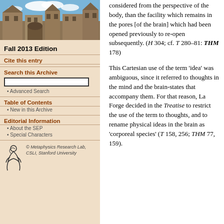[Figure (photo): Photograph of a historic stone university building with towers and courtyards under a blue sky with clouds]
Fall 2013 Edition
Cite this entry
Search this Archive
Advanced Search
Table of Contents
New in this Archive
Editorial Information
About the SEP
Special Characters
[Figure (logo): Metaphysics Research Lab, CSLI, Stanford University logo with stylized figure]
considered from the perspective of the body, than the facility which remains in the pores [of the brain] which had been opened previously to re-open subsequently. (H 304; cf. T 280–81: THM 178)
This Cartesian use of the term 'idea' was ambiguous, since it referred to thoughts in the mind and the brain-states that accompany them. For that reason, La Forge decided in the Treatise to restrict the use of the term to thoughts, and to rename physical ideas in the brain as 'corporeal species' (T 158, 256; THM 77, 159).